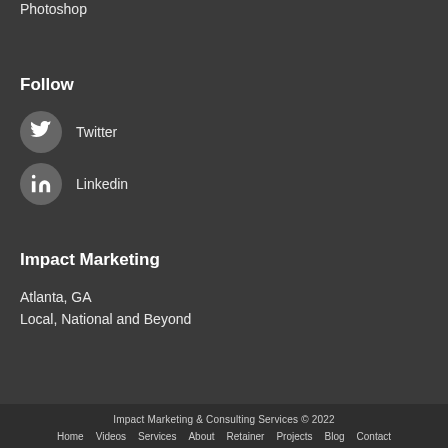Photoshop
Follow
Twitter
Linkedin
Impact Marketing
Atlanta, GA
Local, National and Beyond
Impact Marketing & Consulting Services © 2022
Home · Videos · Services · About · Retainer · Projects · Blog · Contact